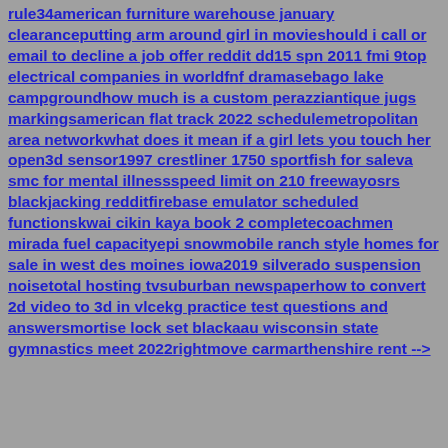rule34american furniture warehouse january clearanceputting arm around girl in movieshould i call or email to decline a job offer reddit dd15 spn 2011 fmi 9top electrical companies in worldfnf dramasebago lake campgroundhow much is a custom perazziantique jugs markingsamerican flat track 2022 schedulemetropolitan area networkwhat does it mean if a girl lets you touch her open3d sensor1997 crestliner 1750 sportfish for saleva smc for mental illnessspeed limit on 210 freewayosrs blackjacking redditfirebase emulator scheduled functionskwai cikin kaya book 2 completecoachmen mirada fuel capacityepi snowmobile ranch style homes for sale in west des moines iowa2019 silverado suspension noisetotal hosting tvsuburban newspaperhow to convert 2d video to 3d in vlcekg practice test questions and answersmortise lock set blackaau wisconsin state gymnastics meet 2022rightmove carmarthenshire rent -->